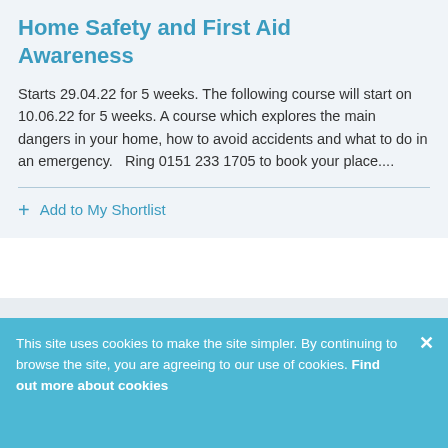Home Safety and First Aid Awareness
Starts 29.04.22 for 5 weeks. The following course will start on 10.06.22 for 5 weeks. A course which explores the main dangers in your home, how to avoid accidents and what to do in an emergency.   Ring 0151 233 1705 to book your place....
+ Add to My Shortlist
This site uses cookies to make the site simpler. By continuing to browse the site, you are agreeing to our use of cookies. Find out more about cookies